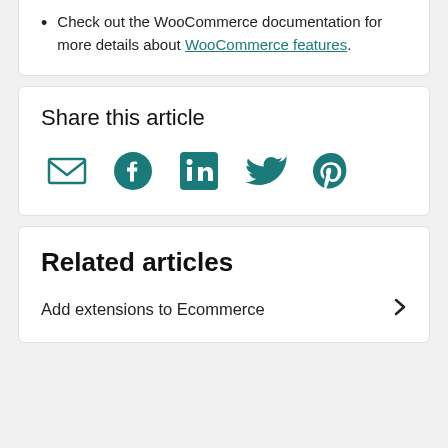Check out the WooCommerce documentation for more details about WooCommerce features.
Share this article
[Figure (infographic): Social share icons: email, Facebook, LinkedIn, Twitter, Pinterest — all in teal color]
Related articles
Add extensions to Ecommerce